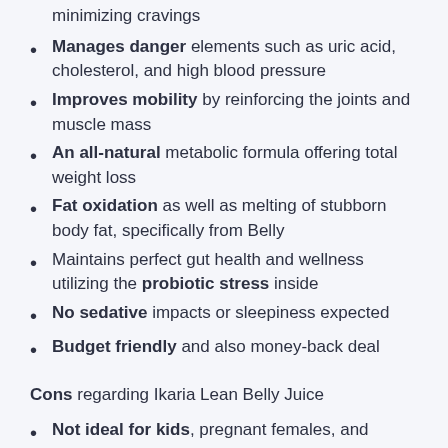minimizing cravings
Manages danger elements such as uric acid, cholesterol, and high blood pressure
Improves mobility by reinforcing the joints and muscle mass
An all-natural metabolic formula offering total weight loss
Fat oxidation as well as melting of stubborn body fat, specifically from Belly
Maintains perfect gut health and wellness utilizing the probiotic stress inside
No sedative impacts or sleepiness expected
Budget friendly and also money-back deal
Cons regarding Ikaria Lean Belly Juice
Not ideal for kids, pregnant females, and